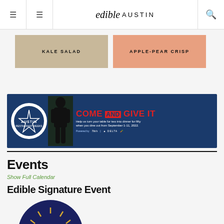edible AUSTIN
[Figure (photo): Recipe card thumbnail: KALE SALAD on tan/wood background]
[Figure (photo): Recipe card thumbnail: APPLE-PEAR CRISP on peach/salmon background]
[Figure (illustration): Advertisement banner: COME AND GIVE IT - Austin Restaurant Weeks, Help us turn your table for two into dinner for fifty when you dine out from September 1-11, 2022. Powered by Tito's, Handmade Vodka, Delta, and a carrot logo.]
Events
Show Full Calendar
Edible Signature Event
[Figure (logo): Circular dark blue logo with the word 'eat' in italic script with decorative lines/rays around it]